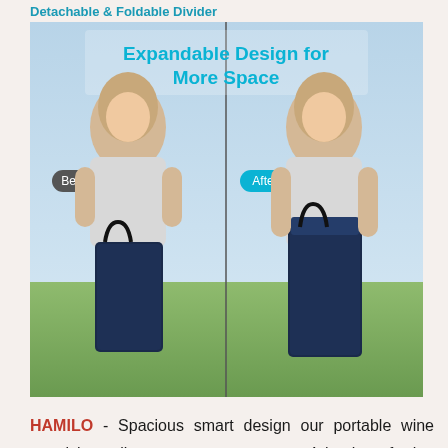Detachable & Foldable Divider
[Figure (photo): Product image showing 'Expandable Design for More Space' with Before/After comparison of a woman holding a wine travel bag, navy blue insulated cooler bag in two states]
HAMILO - Spacious smart design our portable wine travel bag allows you to carry up to 4 bottles of wine champagne water burgundy beer and any other drink you have in mind The 5mm epe foam and removable divider keeps them safe separated and insulated making it ideal for travel For more than just wine with 4 separate large compartments you dont have to limit yourself to just wine This insulated bottle